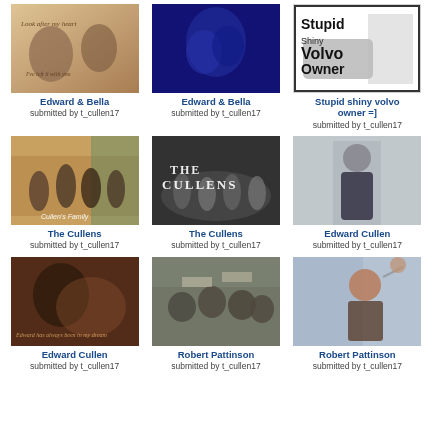[Figure (photo): Edward & Bella fan art, sepia toned with cursive text 'Look after my heart, I've left it with you']
Edward & Bella
submitted by t_cullen17
[Figure (photo): Edward & Bella blue-tinted photo of couple embracing]
Edward & Bella
submitted by t_cullen17
[Figure (photo): Stupid Shiny Volvo Owner meme with car and person walking]
Stupid shiny volvo owner =]
submitted by t_cullen17
[Figure (photo): The Cullens group photo labeled Cullen's Family]
The Cullens
submitted by t_cullen17
[Figure (photo): The Cullens movie poster style image with text THE CULLENS]
The Cullens
submitted by t_cullen17
[Figure (photo): Edward Cullen standing alone in dark jacket]
Edward Cullen
submitted by t_cullen17
[Figure (photo): Edward Cullen dark brooding photo with text 'Edward has always been in my dream']
Edward Cullen
submitted by t_cullen17
[Figure (photo): Robert Pattinson at signing event with fans]
Robert Pattinson
submitted by t_cullen17
[Figure (photo): Robert Pattinson waving at event or premiere]
Robert Pattinson
submitted by t_cullen17